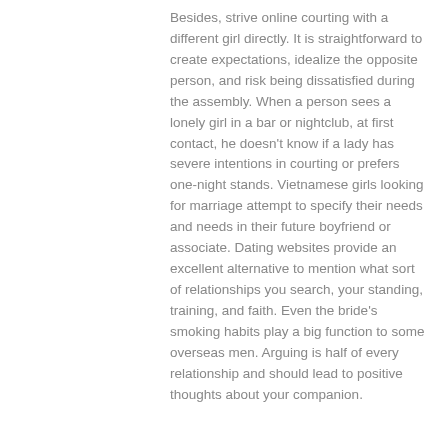Besides, strive online courting with a different girl directly. It is straightforward to create expectations, idealize the opposite person, and risk being dissatisfied during the assembly. When a person sees a lonely girl in a bar or nightclub, at first contact, he doesn't know if a lady has severe intentions in courting or prefers one-night stands. Vietnamese girls looking for marriage attempt to specify their needs and needs in their future boyfriend or associate. Dating websites provide an excellent alternative to mention what sort of relationships you search, your standing, training, and faith. Even the bride's smoking habits play a big function to some overseas men. Arguing is half of every relationship and should lead to positive thoughts about your companion.